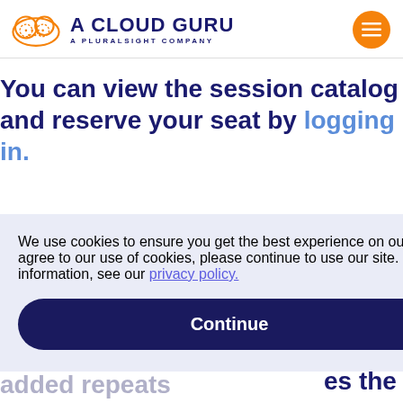A CLOUD GURU — A PLURALSIGHT COMPANY
You can view the session catalog and reserve your seat by logging in.
We use cookies to ensure you get the best experience on our website. If you agree to our use of cookies, please continue to use our site. For more information, see our privacy policy.
Continue
checking back as AWS often added repeats